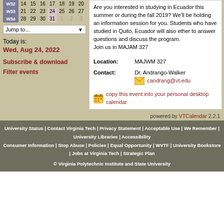| Week | Mon | Tue | Wed | Thu | Fri | Sat | Sun |
| --- | --- | --- | --- | --- | --- | --- | --- |
| W32 | 14 | 15 | 16 | 17 | 18 | 19 | 20 |
| W33 | 21 | 22 | 23 | 24 | 25 | 26 | 27 |
| W34 | 28 | 29 | 30 | 31 | 1 | 2 | 3 |
Jump to...
Today is:
Wed, Aug 24, 2022
Subscribe & download
Filter events
Are you interested in studying in Ecuador this summer or during the fall 2019? We'll be holding an information session for you. Students who have studied in Quito, Ecuador will also ether to answer questions and discuss the program.
Join us in MAJAM 327
| Label | Value |
| --- | --- |
| Location: | MAJWM 327 |
| Contact: | Dr. Andrango-Walker
candrang@vt.edu |
copy this event into your personal desktop calendar
powered by VTCalendar 2.2.1
University Status | Contact Virginia Tech | Privacy Statement | Acceptable Use | We Remember | University Libraries | Accessibility
Consumer Information | Stop Abuse | Policies | Equal Opportunity | WVTF | University Bookstore | Jobs at Virginia Tech | Strategic Plan
© Virginia Polytechnic Institute and State University